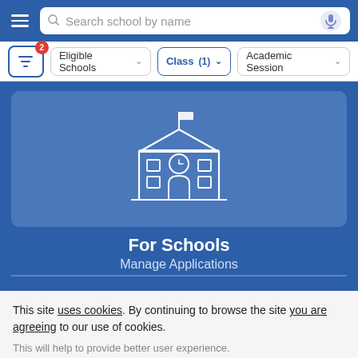[Figure (screenshot): Top navigation bar with hamburger menu, search bar reading 'Search school by name', and microphone icon on blue background]
[Figure (screenshot): Filter bar with filter button (badge showing 2), 'Eligible Schools' dropdown, 'Class (1)' dropdown (active/highlighted), and 'Academic Session' dropdown]
[Figure (illustration): School building icon in white outline on blue-tinted rectangle card background]
For Schools
Manage Applications
This site uses cookies. By continuing to browse the site you are agreeing to our use of cookies.
This will help to provide better user experience.
Ok, I Understand